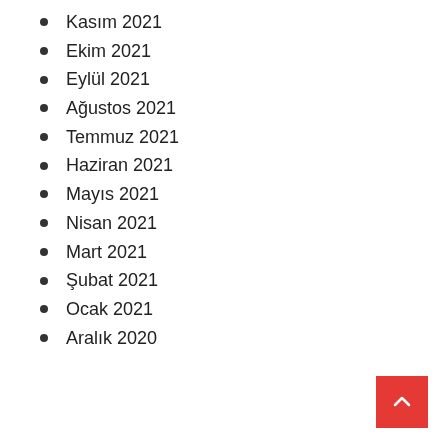Kasım 2021
Ekim 2021
Eylül 2021
Ağustos 2021
Temmuz 2021
Haziran 2021
Mayıs 2021
Nisan 2021
Mart 2021
Şubat 2021
Ocak 2021
Aralık 2020